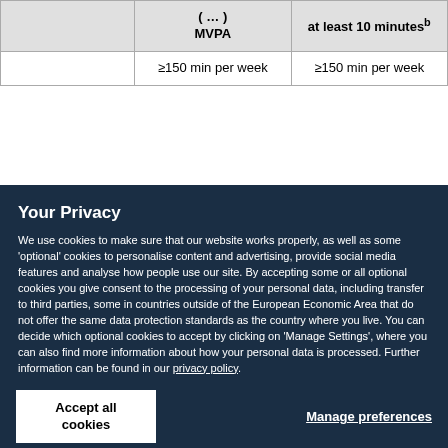|  | (... ) MVPA | at least 10 minutesᵇ |
| --- | --- | --- |
|  | ≥150 min per week | ≥150 min per week |
Your Privacy
We use cookies to make sure that our website works properly, as well as some 'optional' cookies to personalise content and advertising, provide social media features and analyse how people use our site. By accepting some or all optional cookies you give consent to the processing of your personal data, including transfer to third parties, some in countries outside of the European Economic Area that do not offer the same data protection standards as the country where you live. You can decide which optional cookies to accept by clicking on 'Manage Settings', where you can also find more information about how your personal data is processed. Further information can be found in our privacy policy.
Accept all cookies
Manage preferences